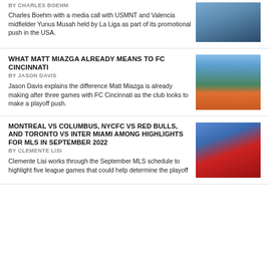BY CHARLES BOEHM
Charles Boehm with a media call with USMNT and Valencia midfielder Yunus Musah held by La Liga as part of its promotional push in the USA.
[Figure (photo): Photo of a young Black male soccer player smiling, wearing a blue USMNT jersey]
WHAT MATT MIAZGA ALREADY MEANS TO FC CINCINNATI
BY JASON DAVIS
Jason Davis explains the difference Matt Miazga is already making after three games with FC Cincinnati as the club looks to make a playoff push.
[Figure (photo): Photo of an empty soccer stadium with orange seats and green pitch, viewed from stands]
MONTREAL VS COLUMBUS, NYCFC VS RED BULLS, AND TORONTO VS INTER MIAMI AMONG HIGHLIGHTS FOR MLS IN SEPTEMBER 2022
BY CLEMENTE LISI
Clemente Lisi works through the September MLS schedule to highlight five league games that could help determine the playoff
[Figure (photo): Photo of soccer players in red jerseys celebrating on the field with a crowd in the background]